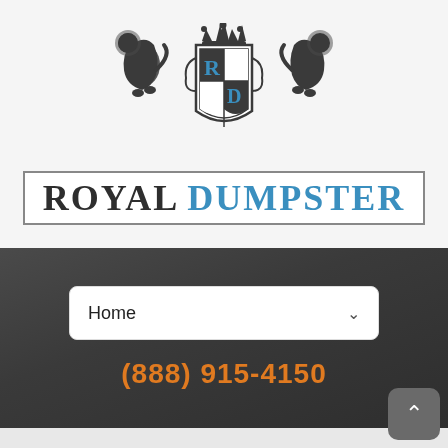[Figure (logo): Royal Dumpster logo with heraldic crest showing two lions flanking a shield with checkered pattern containing letters R and D, with crown on top. Below the crest is the brand name 'ROYAL DUMPSTER' in large serif font with a border, 'ROYAL' in dark gray and 'DUMPSTER' in blue.]
Home
(888) 915-4150
Waste Management North Adams, MA